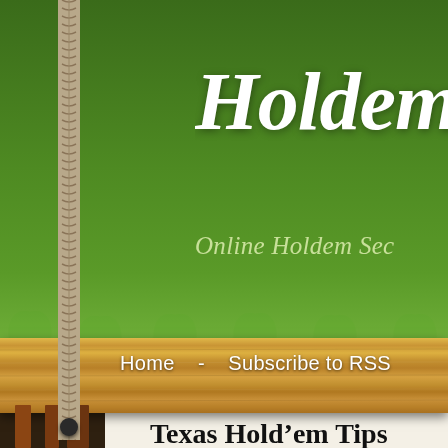[Figure (screenshot): Blog website header with green gradient background showing 'Holdem' site title in italic white serif font and subtitle 'Online Holdem Sec...' with decorative leaf pattern, rope decorations, wooden navigation bar with 'Home - Subscribe to RSS' links, and wooden swing frame structure]
Holdem
Online Holdem Sec
Home   -   Subscribe to RSS
Texas Hold’em Tips
Posted by Angelique | Posted in Holdem | Posted on 19-12-2015
[ English ]